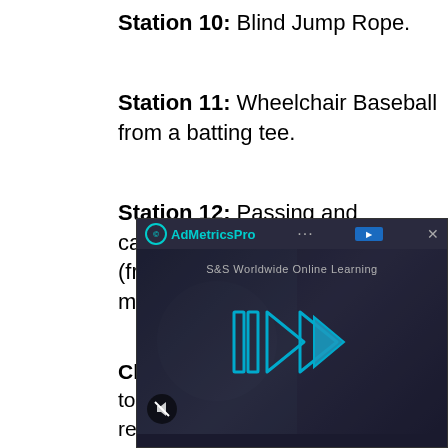Station 10: Blind Jump Rope.
Station 11: Wheelchair Baseball from a batting tee.
Station 12: Passing and catching between 2 wheelchairs (from Playground ball to a 2 lb. medicine ball).
Closure: Students were reminded to complete their journal reflections. We discussed our progress start to finish. Students offered comments and suggestions on how to improve the unit next y (for example: Selected students would spend entire day in a wheelch
[Figure (screenshot): AdMetricsPro advertisement overlay showing a video player with play button and mute icon, dark themed with teal/blue colors, S&S Worldwide Online Learning branding]